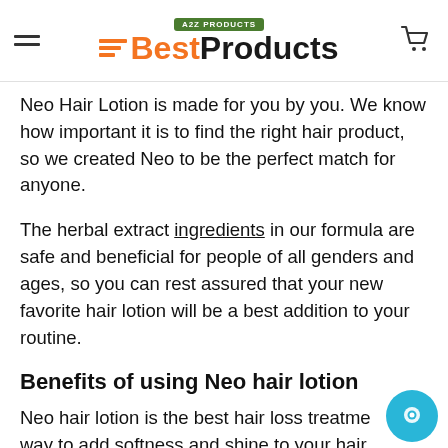A2Z PRODUCTS BestProducts [navigation header with logo and cart]
Neo Hair Lotion is made for you by you. We know how important it is to find the right hair product, so we created Neo to be the perfect match for anyone.
The herbal extract ingredients in our formula are safe and beneficial for people of all genders and ages, so you can rest assured that your new favorite hair lotion will be a best addition to your routine.
Benefits of using Neo hair lotion
Neo hair lotion is the best hair loss treatment and a way to add softness and shine to your hair.